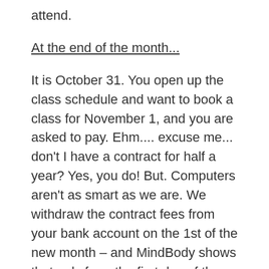attend.
At the end of the month...
It is October 31. You open up the class schedule and want to book a class for November 1, and you are asked to pay. Ehm.... excuse me... don't I have a contract for half a year? Yes, you do! But. Computers aren't as smart as we are. We withdraw the contract fees from your bank account on the 1st of the new month – and MindBody shows that only from the first day of the new month with 15 classes. You want to book your favorite classes earlier? We have a workaround! Go to this page (you also find the link to this page above the class schedule). When you login here, you directly come into the